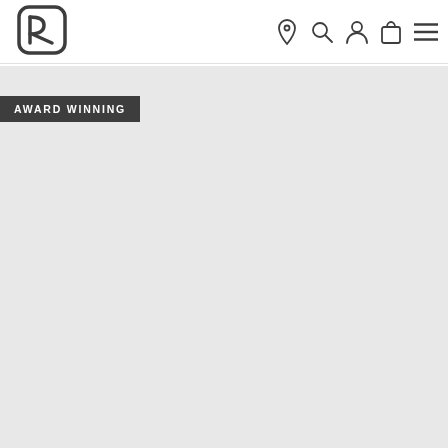Navigation bar with logo and icons (location, search, user, cart, menu)
[Figure (logo): Ortovox brand logo: stylized letter R inside a rounded rectangle shape]
AWARD WINNING